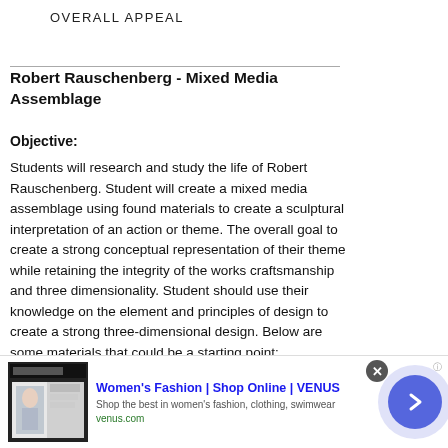OVERALL APPEAL
Robert Rauschenberg - Mixed Media Assemblage
Objective:
Students will research and study the life of Robert Rauschenberg. Student will create a mixed media assemblage using found materials to create a sculptural interpretation of an action or theme. The overall goal to create a strong conceptual representation of their theme while retaining the integrity of the works craftsmanship and three dimensionality. Student should use their knowledge on the element and principles of design to create a strong three-dimensional design. Below are some materials that could be a starting point:
[Figure (other): Advertisement banner for Women's Fashion | Shop Online | VENUS with logo image, arrow button, and close button]